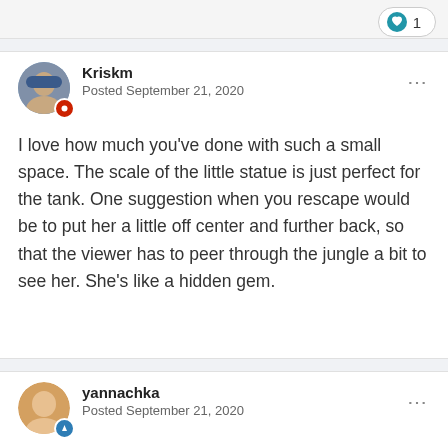[Figure (other): Like button with heart icon showing count of 1]
Kriskm
Posted September 21, 2020
I love how much you've done with such a small space. The scale of the little statue is just perfect for the tank. One suggestion when you rescape would be to put her a little off center and further back, so that the viewer has to peer through the jungle a bit to see her. She's like a hidden gem.
yannachka
Posted September 21, 2020